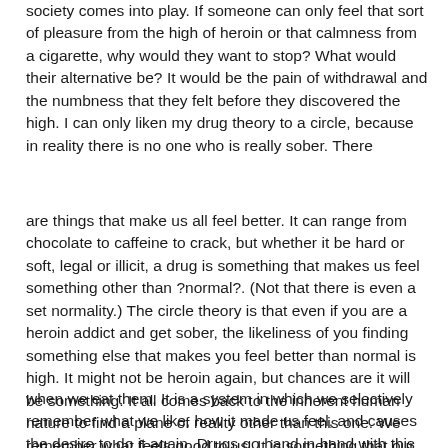society comes into play. If someone can only feel that sort of pleasure from the high of heroin or that calmness from a cigarette, why would they want to stop? What would their alternative be? It would be the pain of withdrawal and the numbness that they felt before they discovered the high. I can only liken my drug theory to a circle, because in reality there is no one who is really sober. There
are things that make us all feel better. It can range from chocolate to caffeine to crack, but whether it be hard or soft, legal or illicit, a drug is something that makes us feel something other than ?normal?. (Not that there is even a set normality.) The circle theory is that even if you are a heroin addict and get sober, the likeliness of you finding something else that makes you feel better than normal is high. It might not be heroin again, but chances are it will be something. It all comes back to the inherent human nature to find a plane of reality other than this one. We remember what feels good to us. It is something that our brain does for us. Because sex feels good, there is a natural desire to participate. We remember which foods we like best and how they make us feel
when we eat them. It is a system in which we selectively remember what we like, how it made us feel, and causes the desire to do it again. Drugs go hand in hand with this theory. Things that are